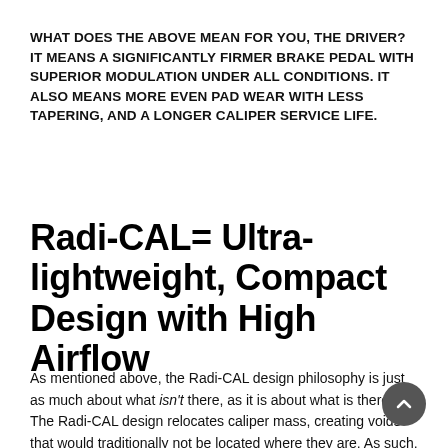WHAT DOES THE ABOVE MEAN FOR YOU, THE DRIVER? IT MEANS A SIGNIFICANTLY FIRMER BRAKE PEDAL WITH SUPERIOR MODULATION UNDER ALL CONDITIONS. IT ALSO MEANS MORE EVEN PAD WEAR WITH LESS TAPERING, AND A LONGER CALIPER SERVICE LIFE.
Radi-CAL= Ultra-lightweight, Compact Design with High Airflow
As mentioned above, the Radi-CAL design philosophy is just as much about what isn't there, as it is about what is there. The Radi-CAL design relocates caliper mass, creating voids that would traditionally not be located where they are. As such,